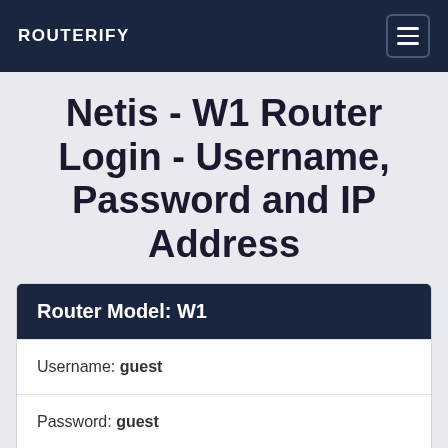ROUTERIFY
Netis - W1 Router Login - Username, Password and IP Address
| Router Model: W1 |
| --- |
| Username: guest |
| Password: guest |
| IP Address: 192.168.1.1  Login |